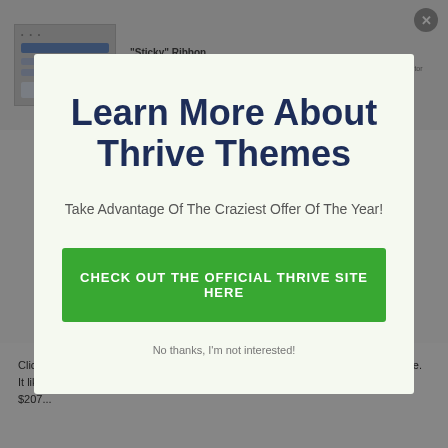[Figure (screenshot): Screenshot thumbnail of a website interface with navigation bar and content sections]
"Sticky" Ribbon
Adds a close opt form which shows at the top of the screen and remains sticky while the visitor scrolls down a page
Learn More About Thrive Themes
Take Advantage Of The Craziest Offer Of The Year!
CHECK OUT THE OFFICIAL THRIVE SITE HERE
No thanks, I'm not interested!
ClickFunnels also distributes, which is something that Thrive Themes doesn't have. It likewise comes with one-click and also email advertising at Amazon for about $207...